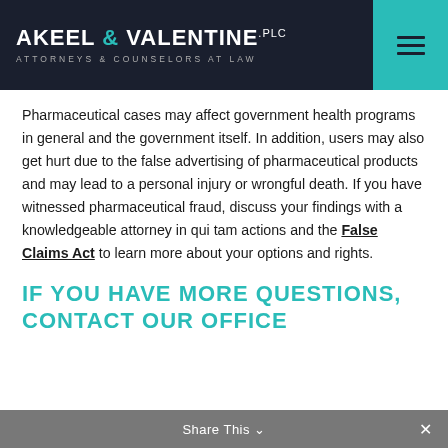AKEEL & VALENTINE.PLC ATTORNEYS & COUNSELORS AT LAW
Pharmaceutical cases may affect government health programs in general and the government itself. In addition, users may also get hurt due to the false advertising of pharmaceutical products and may lead to a personal injury or wrongful death. If you have witnessed pharmaceutical fraud, discuss your findings with a knowledgeable attorney in qui tam actions and the False Claims Act to learn more about your options and rights.
IF YOU HAVE MORE QUESTIONS, CONTACT OUR OFFICE
Share This